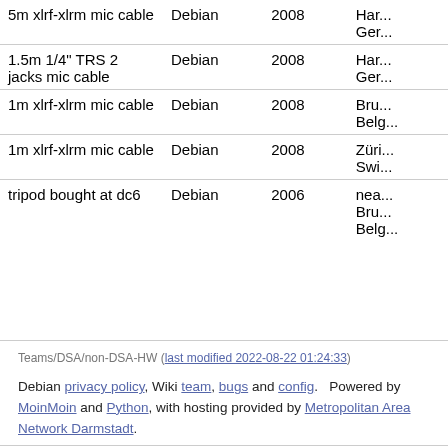| Item | OS | Year | Location |
| --- | --- | --- | --- |
| 5m xlrf-xlrm mic cable | Debian | 2008 | Ham... Ger... |
| 1.5m 1/4" TRS 2 jacks mic cable | Debian | 2008 | Ham... Ger... |
| 1m xlrf-xlrm mic cable | Debian | 2008 | Bru... Belg... |
| 1m xlrf-xlrm mic cable | Debian | 2008 | Züri... Swi... |
| tripod bought at dc6 | Debian | 2006 | nea... Bru... Belg... |
Teams/DSA/non-DSA-HW (last modified 2022-08-22 01:24:33)
Debian privacy policy, Wiki team, bugs and config. Powered by MoinMoin and Python, with hosting provided by Metropolitan Area Network Darmstadt.